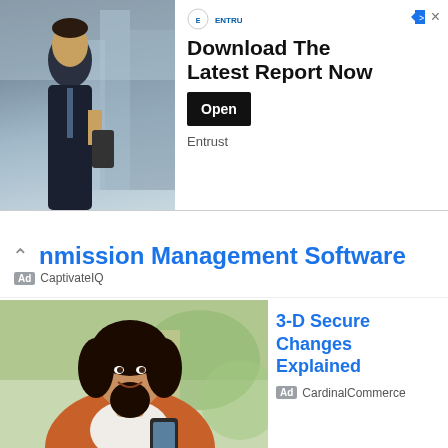[Figure (photo): Top banner ad: man in suit holding phone, city buildings background]
Download The Latest Report Now
Open
Entrust
nmission Management Software
Ad CaptivateIQ
[Figure (photo): Woman smiling holding smartphone in cafe]
3-D Secure Changes Explained
Ad CardinalCommerce